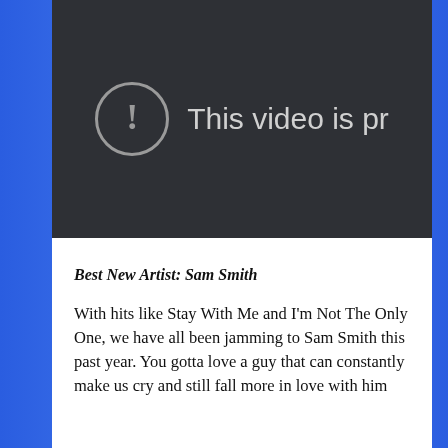[Figure (screenshot): A dark video player placeholder showing an error icon (exclamation mark in a circle) with partial text 'This video is pr' indicating the video is private or restricted.]
Best New Artist: Sam Smith
With hits like Stay With Me and I'm Not The Only One, we have all been jamming to Sam Smith this past year. You gotta love a guy that can constantly make us cry and still fall more in love with him